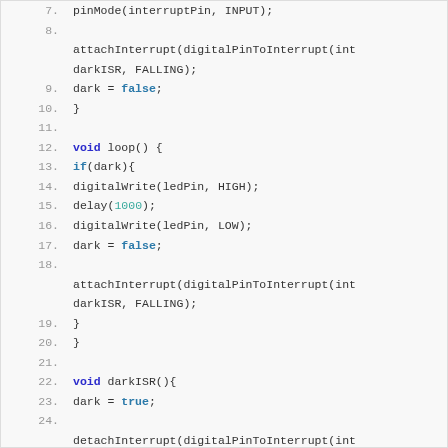[Figure (screenshot): Arduino code snippet showing lines 7-25 with syntax highlighting. Lines include pinMode, attachInterrupt, dark variable assignments, void loop with conditional, digitalWrite calls, delay, and void darkISR function with detachInterrupt.]